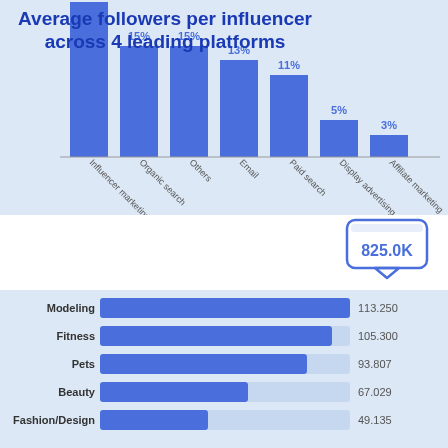[Figure (bar-chart): Top marketing channels]
Average followers per influencer across 4 leading platforms
[Figure (bar-chart): Average followers per influencer across 4 leading platforms]